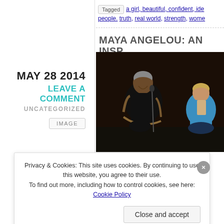Tagged  a girl, beautiful, confident, ide... people. truth, real world, strength, wome...
MAY 28 2014
LEAVE A COMMENT
UNCATEGORIZED
IMAGE
MAYA ANGELOU: AN INSP
[Figure (photo): Two women on stage, one laughing seated in an ornate chair wearing black, the other in a blue jacket]
Privacy & Cookies: This site uses cookies. By continuing to use this website, you agree to their use.
To find out more, including how to control cookies, see here: Cookie Policy
Close and accept